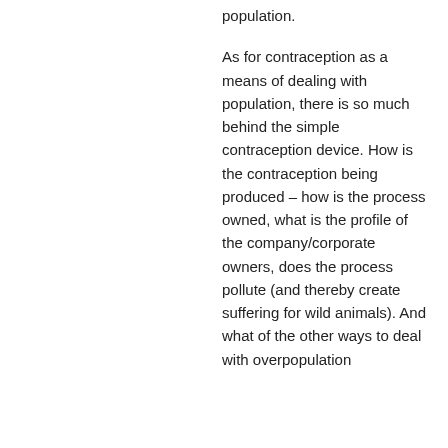population.
As for contraception as a means of dealing with population, there is so much behind the simple contraception device. How is the contraception being produced – how is the process owned, what is the profile of the company/corporate owners, does the process pollute (and thereby create suffering for wild animals). And what of the other ways to deal with overpopulation